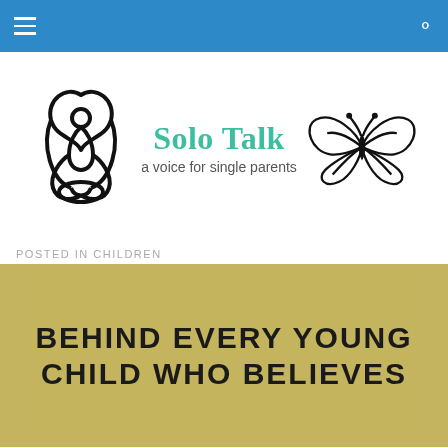[Figure (logo): Solo Talk logo with celtic trinity knot symbol on left, text 'Solo Talk - a voice for single parents' in center, and butterfly outline on right]
POSTED IN CHILDREN
[Figure (illustration): Olive/tan colored background with bold black uppercase text reading: BEHIND EVERY YOUNG CHILD WHO BELIEVES]